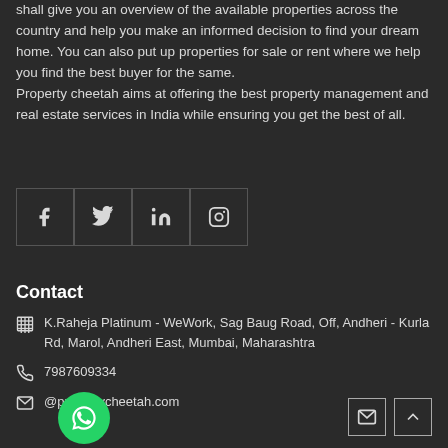shall give you an overview of the available properties across the country and help you make an informed decision to find your dream home. You can also put up properties for sale or rent where we help you find the best buyer for the same. Property cheetah aims at offering the best property management and real estate services in India while ensuring you get the best of all.
[Figure (infographic): Social media icons in bordered boxes: Facebook (f), Twitter (bird), LinkedIn (in), Instagram (camera outline)]
Contact
K.Raheja Platinum - WeWork, Sag Baug Road, Off, Andheri - Kurla Rd, Marol, Andheri East, Mumbai, Maharashtra
7987609334
@propertycheetah.com